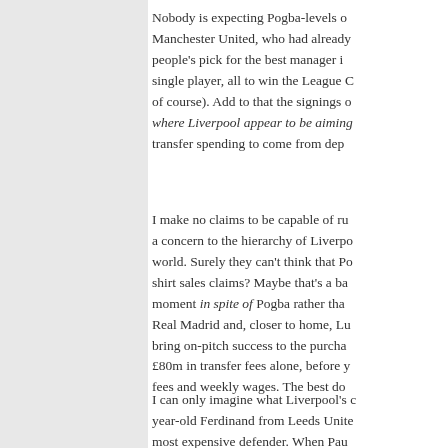Nobody is expecting Pogba-levels of... Manchester United, who had already... people's pick for the best manager in... single player, all to win the League C... of course). Add to that the signings of... where Liverpool appear to be aiming... transfer spending to come from depa...
I make no claims to be capable of ru... a concern to the hierarchy of Liverpo... world. Surely they can't think that Po... shirt sales claims? Maybe that's a ba... moment in spite of Pogba rather tha... Real Madrid and, closer to home, Lu... bring on-pitch success to the purcha... £80m in transfer fees alone, before y... fees and weekly wages. The best do...
I can only imagine what Liverpool's c... year-old Ferdinand from Leeds Unite... most expensive defender. When Pau... inflation in the meantime back in 201...